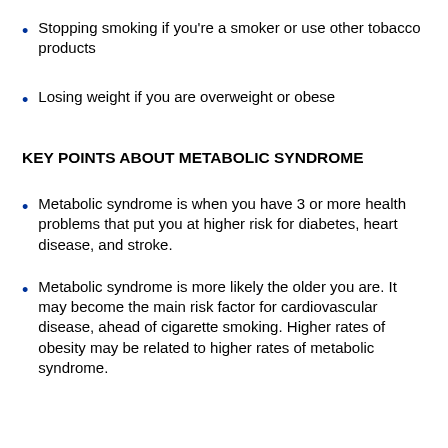Stopping smoking if you're a smoker or use other tobacco products
Losing weight if you are overweight or obese
KEY POINTS ABOUT METABOLIC SYNDROME
Metabolic syndrome is when you have 3 or more health problems that put you at higher risk for diabetes, heart disease, and stroke.
Metabolic syndrome is more likely the older you are. It may become the main risk factor for cardiovascular disease, ahead of cigarette smoking. Higher rates of obesity may be related to higher rates of metabolic syndrome.